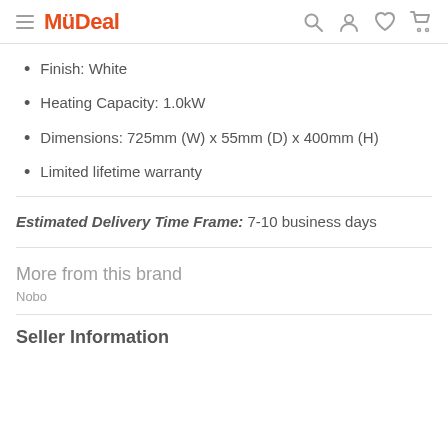MyDeal
Finish: White
Heating Capacity: 1.0kW
Dimensions: 725mm (W) x 55mm (D) x 400mm (H)
Limited lifetime warranty
Estimated Delivery Time Frame: 7-10 business days
More from this brand
Nobo
Seller Information